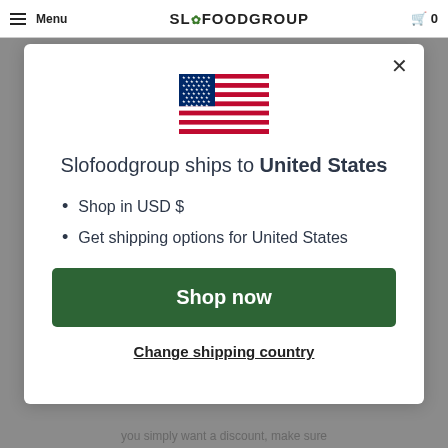Menu | SLOFOODGROUP | 0
[Figure (illustration): US flag SVG illustration]
Slofoodgroup ships to United States
Shop in USD $
Get shipping options for United States
Shop now
Change shipping country
you simply want a discount, make sure